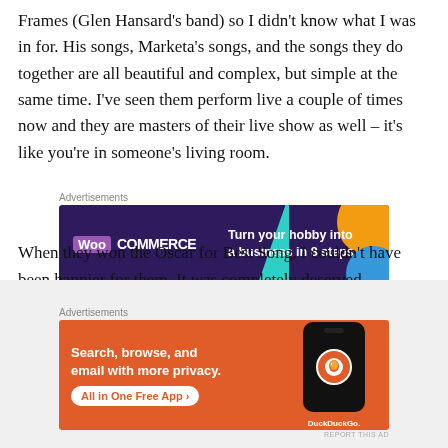Frames (Glen Hansard's band) so I didn't know what I was in for. His songs, Marketa's songs, and the songs they do together are all beautiful and complex, but simple at the same time. I've seen them perform live a couple of times now and they are masters of their live show as well – it's like you're in someone's living room.
[Figure (screenshot): WooCommerce advertisement: 'Turn your hobby into a business in 8 steps' on a dark purple background with teal and orange decorative shapes]
When they won the Oscar for Best Song, I couldn't have been happier for them. It was completely deserved.
[Figure (screenshot): DuckDuckGo advertisement: 'Search, browse, and email with more privacy. All in One Free App' on orange background with phone mockup showing DuckDuckGo logo]